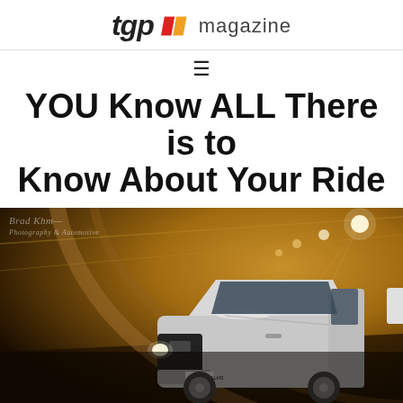tgp // magazine
≡
YOU Know ALL There is to Know About Your Ride
[Figure (photo): A silver Mitsubishi Pajero Mini SUV photographed inside a tunnel with warm golden lighting and light trails on the tunnel ceiling. A photographer watermark is visible in the top left corner.]